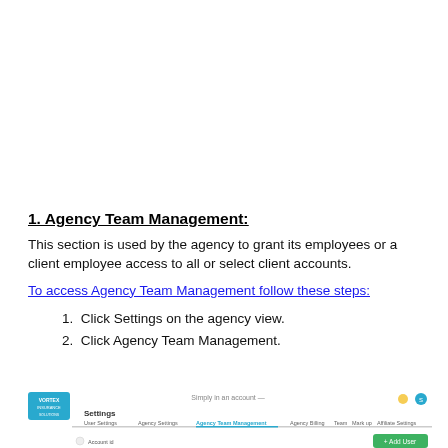1. Agency Team Management:
This section is used by the agency to grant its employees or a client employee access to all or select client accounts.
To access Agency Team Management follow these steps:
1. Click Settings on the agency view.
2. Click Agency Team Management.
[Figure (screenshot): Screenshot of a web interface showing Settings navigation with Agency Team Management tab selected, with a logo on the left and navigation tabs including Agency Settings, Agency Team Management, Agency Billing, Team, Mark up, Affiliate Settings.]